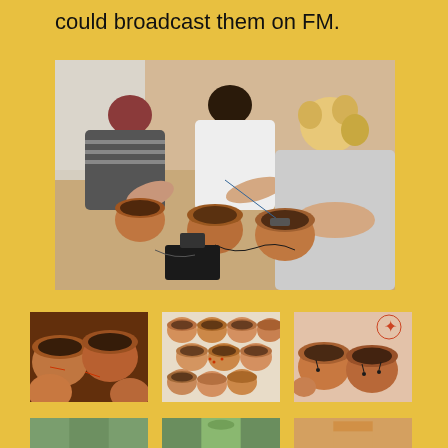could broadcast them on FM.
[Figure (photo): People sitting around a table working on clay pots with soldering irons or similar tools in a workshop setting.]
[Figure (photo): Close-up of multiple terracotta/clay pots grouped together.]
[Figure (photo): Multiple terracotta pots arranged on a surface viewed from above.]
[Figure (photo): Terracotta pots with small decorations or components attached, displayed together.]
[Figure (photo): Partial view of additional photos in a second row - partially cut off at bottom of page.]